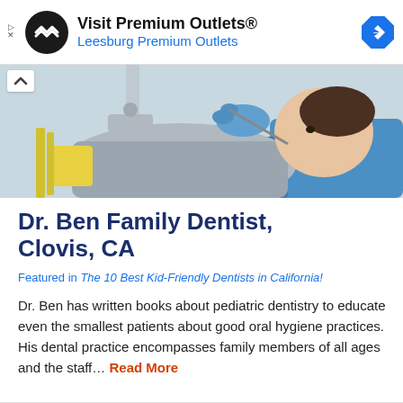[Figure (screenshot): Advertisement banner for Visit Premium Outlets - Leesburg Premium Outlets with logo and navigation icon]
[Figure (photo): Child patient lying in dental chair with dentist examining teeth wearing blue gloves]
Dr. Ben Family Dentist, Clovis, CA
Featured in The 10 Best Kid-Friendly Dentists in California!
Dr. Ben has written books about pediatric dentistry to educate even the smallest patients about good oral hygiene practices. His dental practice encompasses family members of all ages and the staff... Read More